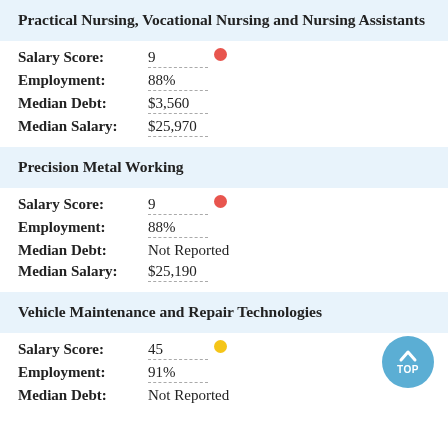Practical Nursing, Vocational Nursing and Nursing Assistants
Salary Score: 9
Employment: 88%
Median Debt: $3,560
Median Salary: $25,970
Precision Metal Working
Salary Score: 9
Employment: 88%
Median Debt: Not Reported
Median Salary: $25,190
Vehicle Maintenance and Repair Technologies
Salary Score: 45
Employment: 91%
Median Debt: Not Reported